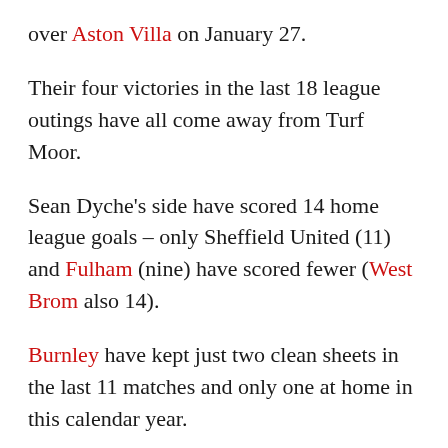over Aston Villa on January 27.
Their four victories in the last 18 league outings have all come away from Turf Moor.
Sean Dyche's side have scored 14 home league goals – only Sheffield United (11) and Fulham (nine) have scored fewer (West Brom also 14).
Burnley have kept just two clean sheets in the last 11 matches and only one at home in this calendar year.
They have lost their last five Premier League home games played during the month of May.